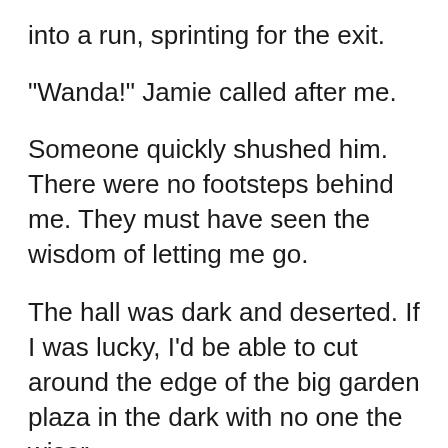into a run, sprinting for the exit.
"Wanda!" Jamie called after me.
Someone quickly shushed him. There were no footsteps behind me. They must have seen the wisdom of letting me go.
The hall was dark and deserted. If I was lucky, I'd be able to cut around the edge of the big garden plaza in the dark with no one the wiser.
In all my time here, the one thing I'd never found was the way out. It seemed as if I'd been down every tunnel time and again, and